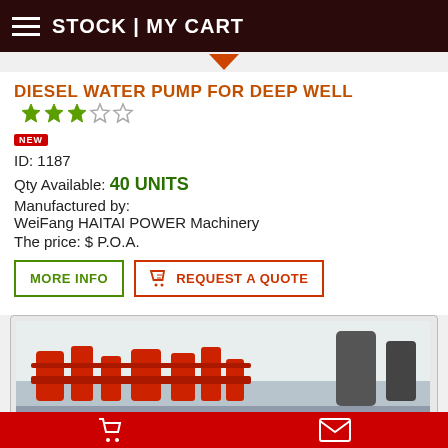STOCK | MY CART
DIESEL WATER PUMP FOR DEEP WELL
NEW
ID: 1187
Qty Available: 40 UNITS
Manufactured by: WeiFang HAITAI POWER Machinery
The price: $ P.O.A.
MORE INFO | REQUEST A QUOTE
[Figure (photo): Photo of red diesel water pumps for deep well in an industrial setting]